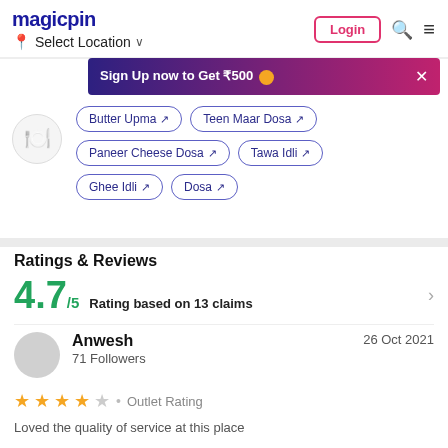magicpin | Select Location | Login | Search | Menu
Sign Up now to Get ₹500
Butter Upma
Teen Maar Dosa
Paneer Cheese Dosa
Tawa Idli
Ghee Idli
Dosa
Ratings & Reviews
4.7/5  Rating based on 13 claims
Anwesh  71 Followers  26 Oct 2021  ★★★★☆ • Outlet Rating  Loved the quality of service at this place